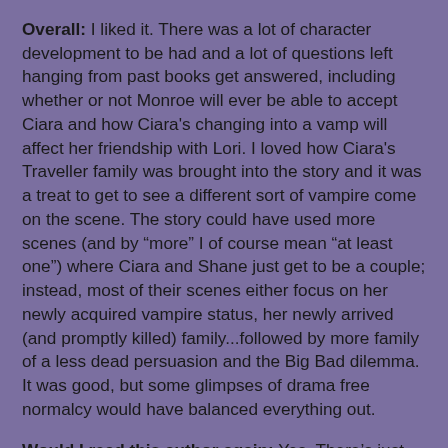Overall: I liked it. There was a lot of character development to be had and a lot of questions left hanging from past books get answered, including whether or not Monroe will ever be able to accept Ciara and how Ciara's changing into a vamp will affect her friendship with Lori. I loved how Ciara's Traveller family was brought into the story and it was a treat to get to see a different sort of vampire come on the scene. The story could have used more scenes (and by "more" I of course mean "at least one") where Ciara and Shane just get to be a couple; instead, most of their scenes either focus on her newly acquired vampire status, her newly arrived (and promptly killed) family...followed by more family of a less dead persuasion and the Big Bad dilemma. It was good, but some glimpses of drama free normalcy would have balanced everything out.
Would I read this author again: Yes. There’s just one book left, after all, until Ciara and Shane get their long promised happily ever after.
My rating: ♥♥♥/5